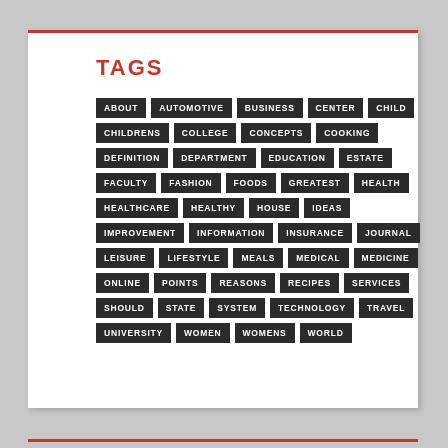TAGS
ABOUT, AUTOMOTIVE, BUSINESS, CENTER, CHILD, CHILDRENS, COLLEGE, CONCEPTS, COOKING, DEFINITION, DEPARTMENT, EDUCATION, ESTATE, FACULTY, FASHION, FOODS, GREATEST, HEALTH, HEALTHCARE, HEALTHY, HOUSE, IDEAS, IMPROVEMENT, INFORMATION, INSURANCE, JOURNAL, LEISURE, LIFESTYLE, MEALS, MEDICAL, MEDICINE, ONLINE, POINTS, REASONS, RECIPES, SERVICES, SHOULD, STATE, SYSTEM, TECHNOLOGY, TRAVEL, UNIVERSITY, WOMEN, WOMENS, WORLD